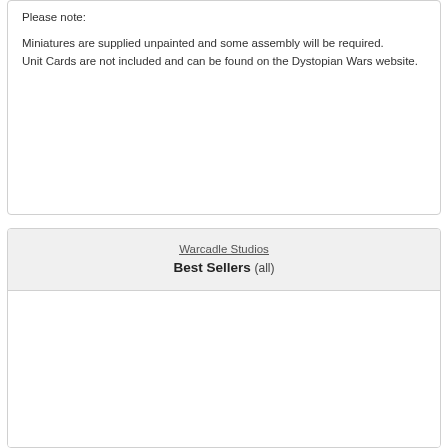Please note:
Miniatures are supplied unpainted and some assembly will be required.
Unit Cards are not included and can be found on the Dystopian Wars website.
Warcadle Studios Best Sellers (all)
Dystopian Wars: Islands and Archipelagos Set